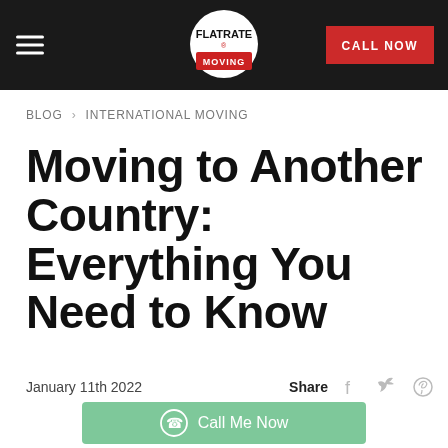FLATRATE MOVING — CALL NOW
BLOG > INTERNATIONAL MOVING
Moving to Another Country: Everything You Need to Know
January 11th 2022    Share
Call Me Now